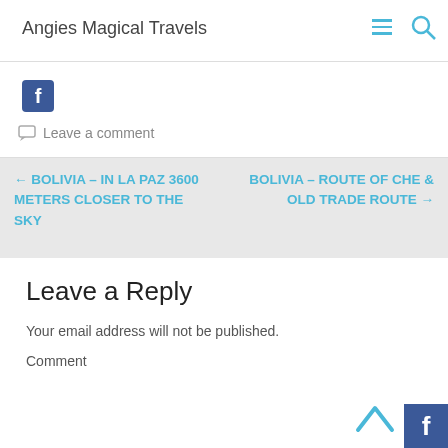Angies Magical Travels
[Figure (screenshot): Facebook share icon button (blue square with white f)]
Leave a comment
← BOLIVIA – IN LA PAZ 3600 METERS CLOSER TO THE SKY
BOLIVIA – ROUTE OF CHE & OLD TRADE ROUTE →
Leave a Reply
Your email address will not be published.
Comment